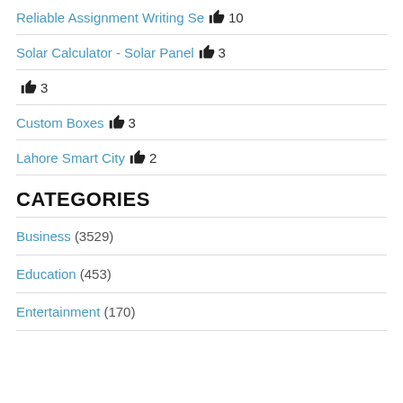Reliable Assignment Writing Se 👍 10
Solar Calculator - Solar Panel 👍 3
👍 3
Custom Boxes 👍 3
Lahore Smart City 👍 2
CATEGORIES
Business (3529)
Education (453)
Entertainment (170)